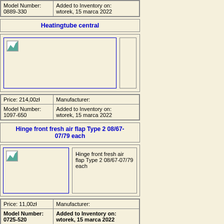| Model Number: 0889-330 | Added to Inventory on: wtorek, 15 marca 2022 |
Heatingtube central
[Figure (photo): Product image placeholder for Heatingtube central with broken image icon]
| Price: 214,00zł | Manufacturer: |
| Model Number: 1097-650 | Added to Inventory on: wtorek, 15 marca 2022 |
Hinge front fresh air flap Type 2 08/67-07/79 each
[Figure (photo): Product image placeholder for Hinge front fresh air flap Type 2 08/67-07/79 each with broken image icon and text description]
| Price: 11,00zł | Manufacturer: |
| Model Number: 0725-520 | Added to Inventory on: wtorek, 15 marca 2022 |
Hockey stick / Heavy Duty